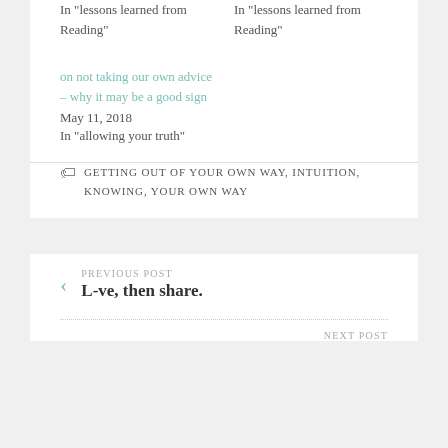In "lessons learned from Reading"
In "lessons learned from Reading"
on not taking our own advice – why it may be a good sign
May 11, 2018
In "allowing your truth"
GETTING OUT OF YOUR OWN WAY, INTUITION, KNOWING, YOUR OWN WAY
PREVIOUS POST
L-ve, then share.
NEXT POST